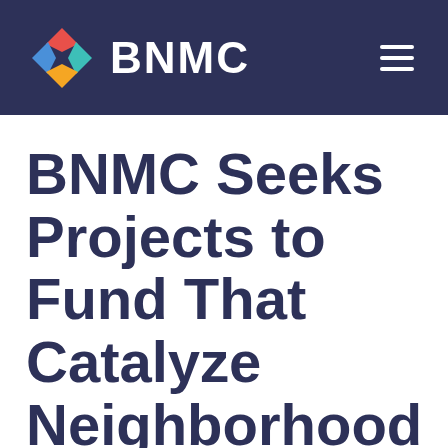BNMC
BNMC Seeks Projects to Fund That Catalyze Neighborhood Ideas